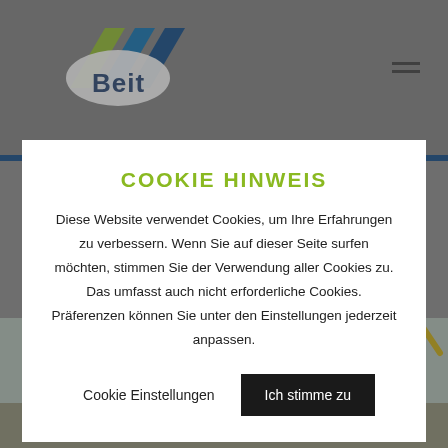[Figure (logo): Colored logo with stylized letters 'Beit' and green/blue diagonal shapes]
COOKIE HINWEIS
Diese Website verwendet Cookies, um Ihre Erfahrungen zu verbessern. Wenn Sie auf dieser Seite surfen möchten, stimmen Sie der Verwendung aller Cookies zu. Das umfasst auch nicht erforderliche Cookies. Präferenzen können Sie unter den Einstellungen jederzeit anpassen.
Cookie Einstellungen
Ich stimme zu
[Figure (photo): Construction site with yellow excavators/cranes against a light sky background]